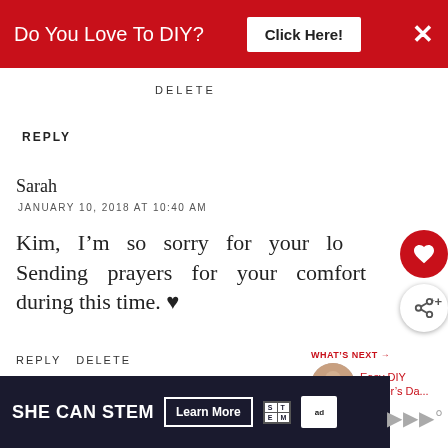[Figure (screenshot): Red banner advertisement: 'Do You Love To DIY? Click Here!' with X close button]
DELETE
REPLY
Sarah
JANUARY 10, 2018 AT 10:40 AM
Kim, I'm so sorry for your lo… Sending prayers for your comfort during this time. ♥
REPLY DELETE
WHAT'S NEXT → Easy DIY Mother's Da...
▼ REPLIES
[Figure (screenshot): Bottom advertisement banner: SHE CAN STEM - Learn More, with STEM logo and Ad Council logo]